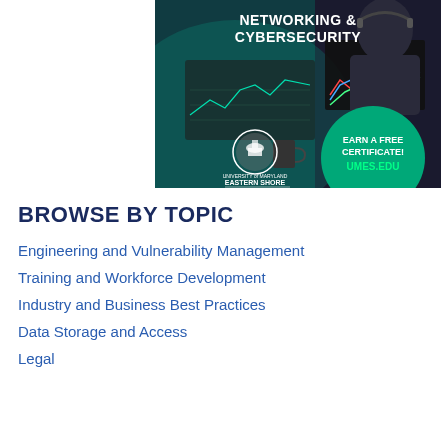[Figure (illustration): University of Maryland Eastern Shore advertisement for Networking & Cybersecurity certificate. Shows a person working at a computer with monitors displaying graphs. Text: 'NETWORKING & CYBERSECURITY', 'EARN A FREE CERTIFICATE!', 'UMES.EDU', 'UNIVERSITY of MARYLAND EASTERN SHORE'.]
BROWSE BY TOPIC
Engineering and Vulnerability Management
Training and Workforce Development
Industry and Business Best Practices
Data Storage and Access
Legal